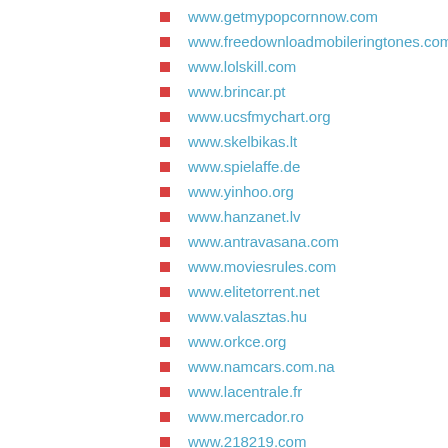www.getmypopcornnow.com
www.freedownloadmobileringtones.com
www.lolskill.com
www.brincar.pt
www.ucsfmychart.org
www.skelbikas.lt
www.spielaffe.de
www.yinhoo.org
www.hanzanet.lv
www.antravasana.com
www.moviesrules.com
www.elitetorrent.net
www.valasztas.hu
www.orkce.org
www.namcars.com.na
www.lacentrale.fr
www.mercador.ro
www.218219.com
www.nou.edu.ng